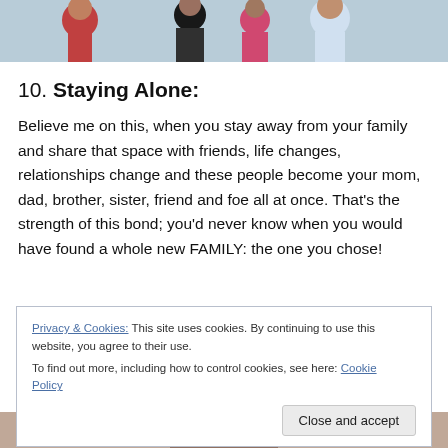[Figure (photo): Group of young people posing together, partial view at top of page]
10. Staying Alone:
Believe me on this, when you stay away from your family and share that space with friends, life changes, relationships change and these people become your mom, dad, brother, sister, friend and foe all at once. That's the strength of this bond; you'd never know when you would have found a whole new FAMILY: the one you chose!
Privacy & Cookies: This site uses cookies. By continuing to use this website, you agree to their use.
To find out more, including how to control cookies, see here: Cookie Policy
[Figure (photo): Partial photo visible at bottom of page]